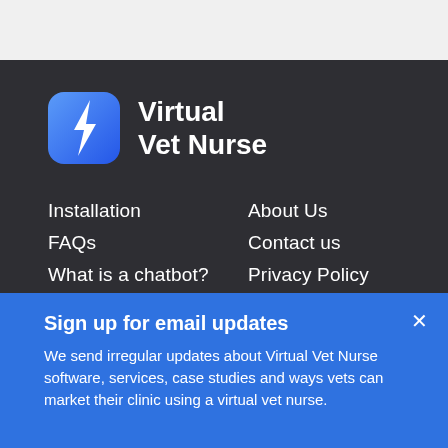[Figure (logo): Virtual Vet Nurse logo — rounded square with blue gradient background and white lightning bolt icon, next to the text 'Virtual Vet Nurse']
Installation
About Us
FAQs
Contact us
What is a chatbot?
Privacy Policy
ezyVet Integration
Terms & Conditions
Sign up for email updates
We send irregular updates about Virtual Vet Nurse software, services, case studies and ways vets can market their clinic using a virtual vet nurse.